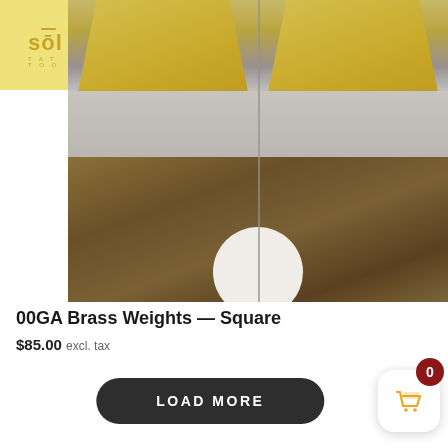[Figure (screenshot): E-commerce product page screenshot showing a Sol brand store header with logo, hamburger menu, Facebook and Instagram icons on a yellow background, and a product photo of 00GA Brass Weights Square jewelry pieces on a wood surface]
00GA Brass Weights — Square
$85.00 excl. tax
LOAD MORE
0